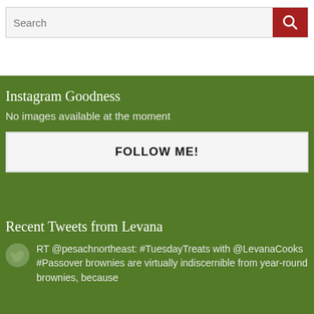Search
Instagram Goodness
No images available at the moment
FOLLOW ME!
Recent Tweets from Levana
RT @pesachnortheast: #TuesdayTreats with @LevanaCooks #Passover brownies are virtually indiscernible from year-round brownies, because